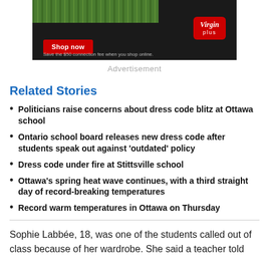[Figure (screenshot): Advertisement banner for Virgin Plus with a black background, green grass image, red 'Shop now' button, Virgin Plus logo, and text 'Save the $50 connection fee when you shop online.']
Advertisement
Related Stories
Politicians raise concerns about dress code blitz at Ottawa school
Ontario school board releases new dress code after students speak out against 'outdated' policy
Dress code under fire at Stittsville school
Ottawa's spring heat wave continues, with a third straight day of record-breaking temperatures
Record warm temperatures in Ottawa on Thursday
Sophie Labbée, 18, was one of the students called out of class because of her wardrobe. She said a teacher told